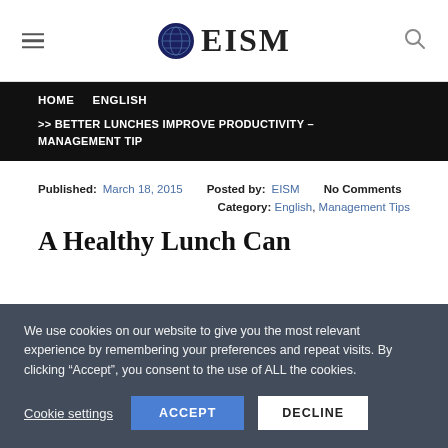[Figure (logo): EISM logo with globe icon and text EISM]
HOME   ENGLISH
>> BETTER LUNCHES IMPROVE PRODUCTIVITY – MANAGEMENT TIP
Published: March 18, 2015   Posted by: EISM   No Comments
Category: English, Management Tips
A Healthy Lunch Can
We use cookies on our website to give you the most relevant experience by remembering your preferences and repeat visits. By clicking “Accept”, you consent to the use of ALL the cookies.